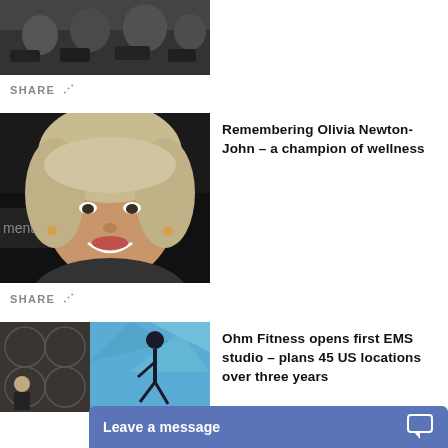[Figure (photo): People on exercise bikes in a cycling class, viewed from the side, black and white tones]
SHARE
[Figure (photo): Olivia Newton-John smiling at a formal event, blonde wavy hair, wearing earrings]
Remembering Olivia Newton-John – a champion of wellness
SHARE
[Figure (photo): Ohm Fitness EMS studio interior with a person doing an exercise pose and logo on the wall]
Ohm Fitness opens first EMS studio – plans 45 US locations over three years
Leave a message